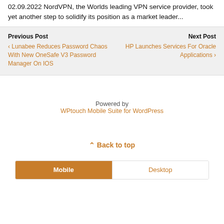02.09.2022 NordVPN, the Worlds leading VPN service provider, took yet another step to solidify its position as a market leader...
Previous Post
‹ Lunabee Reduces Password Chaos With New OneSafe V3 Password Manager On IOS
Next Post
HP Launches Services For Oracle Applications ›
Powered by
WPtouch Mobile Suite for WordPress
˄ Back to top
Mobile | Desktop